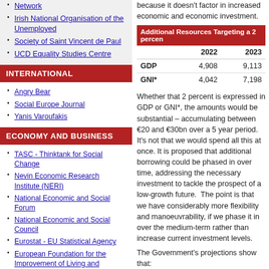Network
Irish National Organisation of the Unemployed
Society of Saint Vincent de Paul
UCD Equality Studies Centre
INTERNATIONAL
Angry Bear
Social Europe Journal
Yanis Varoufakis
ECONOMY AND BUSINESS
TASC - Thinktank for Social Change
Nevin Economic Research Institute (NERI)
National Economic and Social Forum
National Economic and Social Council
Eurostat - EU Statistical Agency
European Foundation for the Improvement of Living and Working Conditions
Economic and Social Research Institute
because it doesn't factor in increased economic and economic investment.
| Additional Resources Targeting a 2 percent | 2022 | 2023 |
| --- | --- | --- |
| GDP | 4,908 | 9,113 |
| GNI* | 4,042 | 7,198 |
Whether that 2 percent is expressed in GDP or GNI*, the amounts would be substantial – accumulating between €20 and €30bn over a 5 year period.  It's not that we would spend all this at once.  It is proposed that additional borrowing could be phased in over time, addressing the necessary investment to tackle the prospect of a low-growth future.  The point is that we have considerably more flexibility and manoeuvrability than if we phase it in over the medium-term rather than increase current investment levels.
The Government's projections show that:
There is no need for tax increases – the deficit is under control
However, we will remain stuck in a